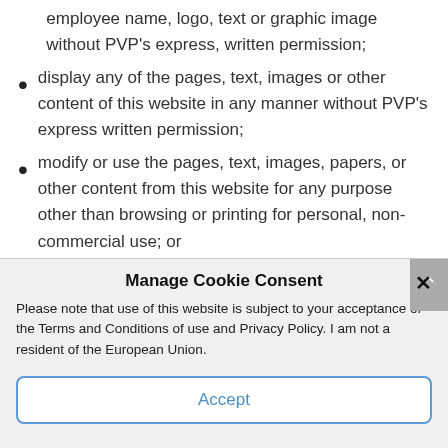employee name, logo, text or graphic image without PVP's express, written permission;
display any of the pages, text, images or other content of this website in any manner without PVP's express written permission;
modify or use the pages, text, images, papers, or other content from this website for any purpose other than browsing or printing for personal, non-commercial use; or
Manage Cookie Consent
Please note that use of this website is subject to your acceptance of the Terms and Conditions of use and Privacy Policy. I am not a resident of the European Union.
Accept